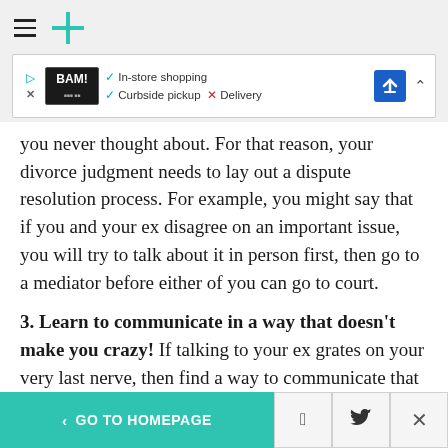HuffPost navigation header with hamburger menu and logo
[Figure (other): BAM! advertisement banner with In-store shopping checkmark, Curbside pickup checkmark, Delivery X, navigation icon and close chevron]
you never thought about. For that reason, your divorce judgment needs to lay out a dispute resolution process. For example, you might say that if you and your ex disagree on an important issue, you will try to talk about it in person first, then go to a mediator before either of you can go to court.
3. Learn to communicate in a way that doesn't make you crazy! If talking to your ex grates on your very last nerve, then find a way to communicate that
< GO TO HOMEPAGE  [Facebook]  [Twitter]  X